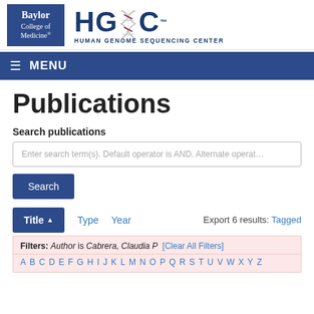[Figure (logo): Baylor College of Medicine and HGSC (Human Genome Sequencing Center) logos side by side]
≡ MENU
Publications
Search publications
Enter search term(s). Default operator is AND. Alternate operate...
Search
Title ▲   Type   Year   Export 6 results: Tagged
Filters: Author is Cabrera, Claudia P [Clear All Filters]
A B C D E F G H I J K L M N O P Q R S T U V W X Y Z